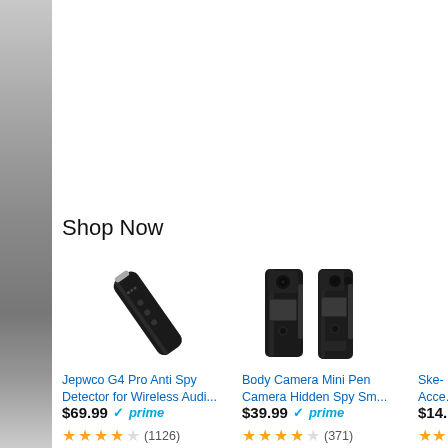Shop Now
[Figure (photo): Jepwco G4 Pro Anti Spy Detector pen-shaped device, black, diagonal view]
Jepwco G4 Pro Anti Spy Detector for Wireless Audi...
$69.99 ✓prime
★★★★☆ (1126)
[Figure (photo): Body Camera Mini Pen Camera Hidden Spy Sm... - two black body camera devices side by side]
Body Camera Mini Pen Camera Hidden Spy Sm...
$39.99 ✓prime
★★★★☆ (371)
Ske...
Acce...
$14...
★★★★